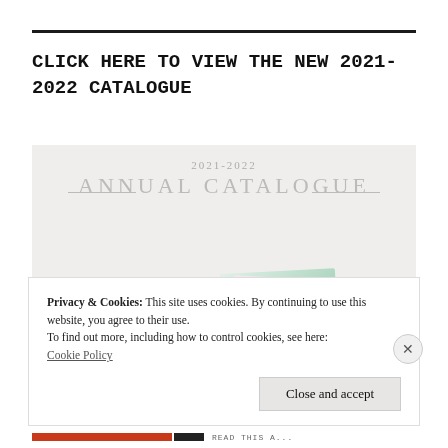CLICK HERE TO VIEW THE NEW 2021-2022 CATALOGUE
[Figure (photo): 2021-2022 Annual Catalogue cover image showing colorful greeting cards fanned out next to a white dish with a red wax seal stamp]
Privacy & Cookies: This site uses cookies. By continuing to use this website, you agree to their use.
To find out more, including how to control cookies, see here:
Cookie Policy
Close and accept